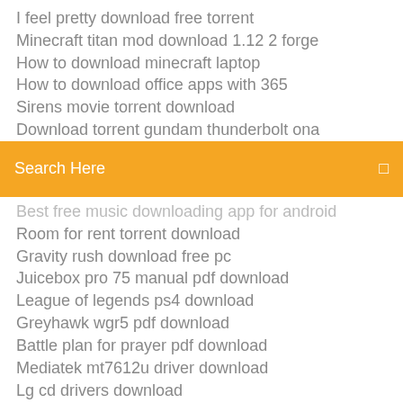I feel pretty download free torrent
Minecraft titan mod download 1.12 2 forge
How to download minecraft laptop
How to download office apps with 365
Sirens movie torrent download
Download torrent gundam thunderbolt ona
[Figure (screenshot): Orange search bar with white text 'Search Here' and a small square icon on the right]
Best free music downloading app for android
Room for rent torrent download
Gravity rush download free pc
Juicebox pro 75 manual pdf download
League of legends ps4 download
Greyhawk wgr5 pdf download
Battle plan for prayer pdf download
Mediatek mt7612u driver download
Lg cd drivers download
Uc browser free video download
Video downloader download video app